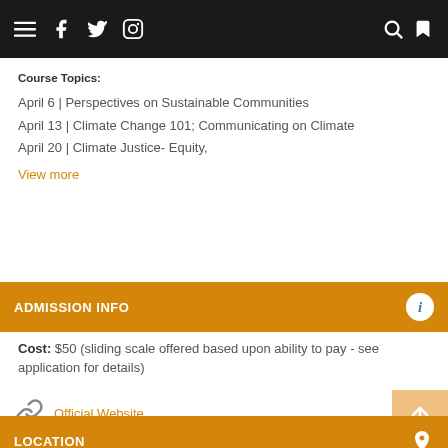Navigation bar with menu, facebook, twitter, instagram, search, bookmark icons
Course Topics:
April 6 | Perspectives on Sustainable Communities
April 13 | Climate Change 101; Communicating on Climate
April 20 | Climate Justice- Equity,
View more
ADMISSION INFO
Cost: $50 (sliding scale offered based upon ability to pay - see application for details)
Official Website
LOCATION